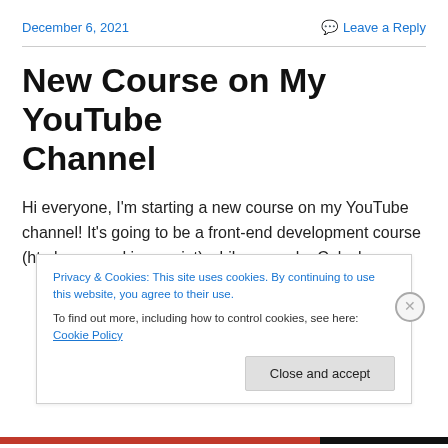December 6, 2021
Leave a Reply
New Course on My YouTube Channel
Hi everyone, I'm starting a new course on my YouTube channel! It's going to be a front-end development course (html, css, and javascript) while we make Calculus
Privacy & Cookies: This site uses cookies. By continuing to use this website, you agree to their use.
To find out more, including how to control cookies, see here: Cookie Policy
Close and accept